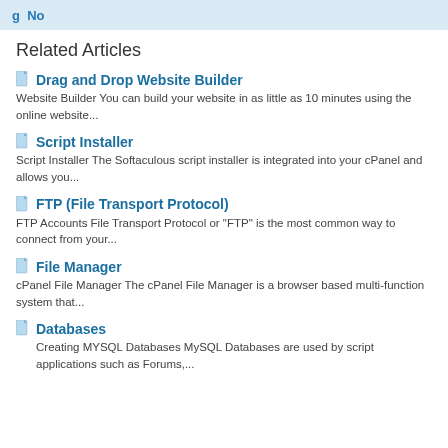g No
Related Articles
Drag and Drop Website Builder — Website Builder You can build your website in as little as 10 minutes using the online website...
Script Installer — Script Installer The Softaculous script installer is integrated into your cPanel and allows you...
FTP (File Transport Protocol) — FTP Accounts File Transport Protocol or "FTP" is the most common way to connect from your...
File Manager — cPanel File Manager The cPanel File Manager is a browser based multi-function system that...
Databases — Creating MYSQL Databases MySQL Databases are used by script applications such as Forums,...